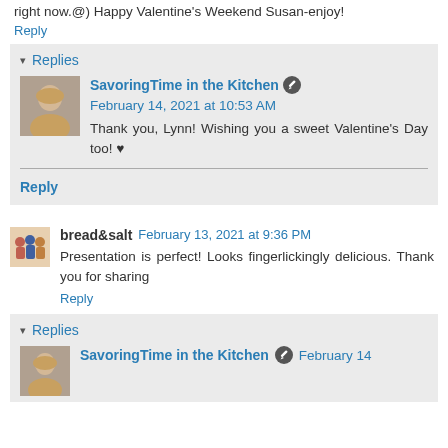right now.@) Happy Valentine's Weekend Susan-enjoy!
Reply
Replies
SavoringTime in the Kitchen  February 14, 2021 at 10:53 AM
Thank you, Lynn! Wishing you a sweet Valentine's Day too! ♥
Reply
bread&salt  February 13, 2021 at 9:36 PM
Presentation is perfect! Looks fingerlickingly delicious. Thank you for sharing
Reply
Replies
SavoringTime in the Kitchen  February 14